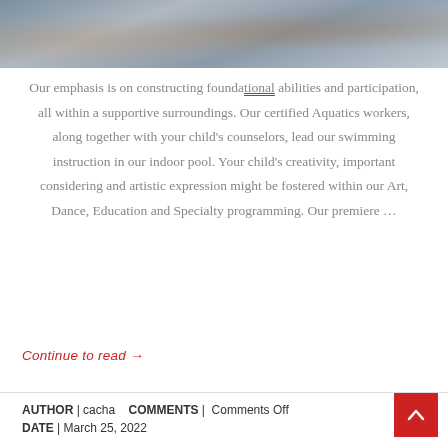[Figure (photo): Photograph of people celebrating, partially cropped at top of page]
Our emphasis is on constructing foundational abilities and participation, all within a supportive surroundings. Our certified Aquatics workers, along together with your child's counselors, lead our swimming instruction in our indoor pool. Your child's creativity, important considering and artistic expression might be fostered within our Art, Dance, Education and Specialty programming. Our premiere …
Continue to read →
AUTHOR | cacha   COMMENTS | Comments Off
DATE | March 25, 2022